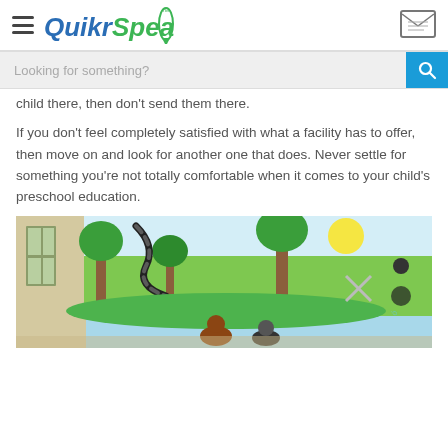QuikrSpeaks
child there, then don't send them there.
If you don't feel completely satisfied with what a facility has to offer, then move on and look for another one that does. Never settle for something you're not totally comfortable when it comes to your child's preschool education.
[Figure (photo): Children in a preschool classroom with colorful jungle mural wall art, sitting at tables. The wall features painted snakes, trees, and animals.]